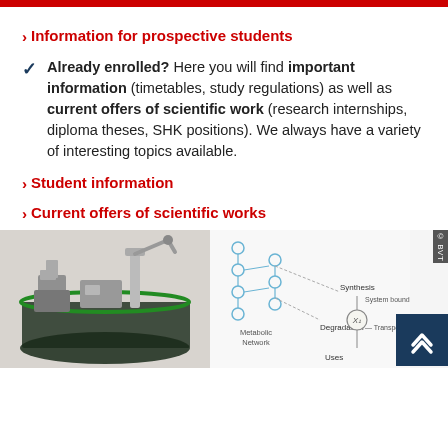Information for prospective students
Already enrolled? Here you will find important information (timetables, study regulations) as well as current offers of scientific work (research internships, diploma theses, SHK positions). We always have a variety of interesting topics available.
Student information
Current offers of scientific works
[Figure (photo): Laboratory robot/automation equipment on a dark circular platform]
[Figure (illustration): Metabolic network diagram showing nodes for Synthesis, Degradation, Uses, Metabolic Network, and Transport with connecting lines]